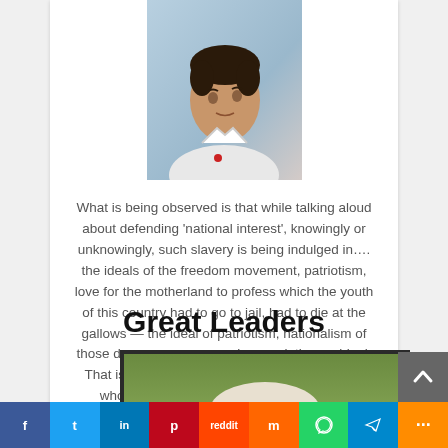[Figure (photo): Portrait photo of a man in a white shirt looking upward, shown from shoulders up]
What is being observed is that while talking aloud about defending ‘national interest’, knowingly or unknowingly, such slavery is being indulged in…. the ideals of the freedom movement, patriotism, love for the motherland to profess which the youth of this country had to go to jail, had to die at the gallows — the ideal of patriotism, nationalism of those days was a progressive revolutionary ideal. That is why this ideology could once imbue the whole nation, instil vitality into the people”
Great Leaders
[Figure (photo): Partial photo of a person with white/grey hair against a green background, shown from top of head only]
f  t  in  p  reddit  m  whatsapp  telegram  more